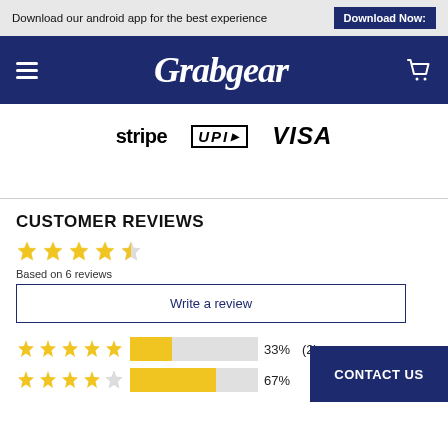Download our android app for the best experience  Download Now:
[Figure (logo): Grabgear e-commerce website navigation bar with hamburger menu, Grabgear brand name in italic serif, and shopping cart icon on dark navy blue background]
[Figure (logo): Payment method logos: stripe, UPI (Unified Payments Interface), and VISA]
CUSTOMER REVIEWS
4.5 stars — Based on 6 reviews
Write a review
5 stars  33%  (2)
4 stars  67%
CONTACT US